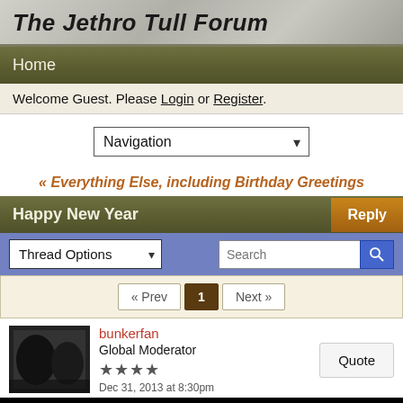The Jethro Tull Forum
Home
Welcome Guest. Please Login or Register.
Navigation
« Everything Else, including Birthday Greetings
Happy New Year
Reply
Thread Options
Search
« Prev  1  Next »
bunkerfan
Global Moderator
★★★★
Dec 31, 2013 at 8:30pm
Quote